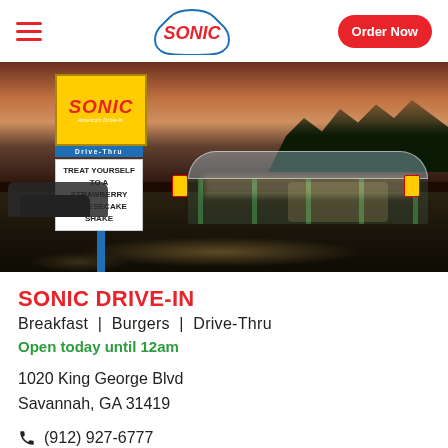SONIC | Order Now
[Figure (photo): Sonic Drive-In restaurant at dusk/night showing illuminated canopy, Sonic sign with yellow board and Drive-Thru sign reading 'TREAT YOURSELF TO A STRAWBERRY CHEESECAKE SHAKE', wet parking lot with reflections]
SONIC DRIVE-IN
Breakfast | Burgers | Drive-Thru
Open today until 12am
1020 King George Blvd
Savannah, GA 31419
(912) 927-6777